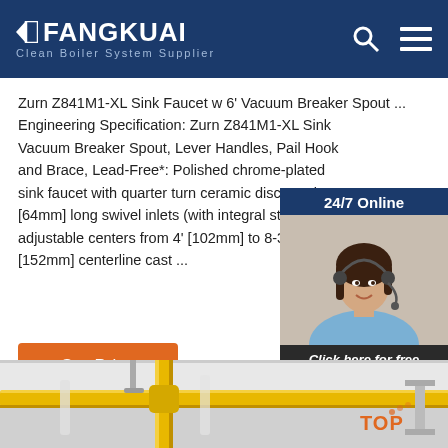FANGKUAI Clean Boiler System Supplier
Zurn Z841M1-XL Sink Faucet w 6' Vacuum Breaker Spout ... Engineering Specification: Zurn Z841M1-XL Sink Vacuum Breaker Spout, Lever Handles, Pail Hook and Brace, Lead-Free*: Polished chrome-plated sink faucet with quarter turn ceramic disc cartri [64mm] long swivel inlets (with integral stops) p adjustable centers from 4' [102mm] to 8-3/8' [21 [152mm] centerline cast ...
[Figure (photo): Customer service representative with headset, used as a 24/7 online chat widget with 'Click here for free chat!' and QUOTATION button]
[Figure (photo): Yellow industrial pipes/boiler system piping visible against white ceiling, bottom portion of the page]